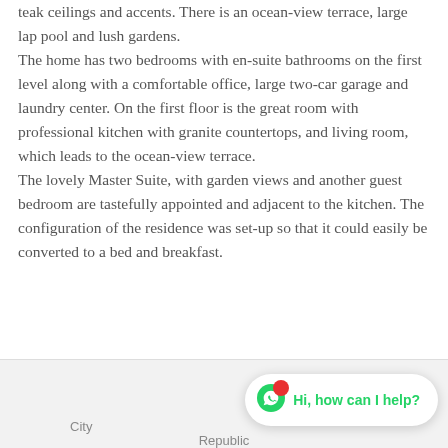teak ceilings and accents. There is an ocean-view terrace, large lap pool and lush gardens. The home has two bedrooms with en-suite bathrooms on the first level along with a comfortable office, large two-car garage and laundry center. On the first floor is the great room with professional kitchen with granite countertops, and living room, which leads to the ocean-view terrace. The lovely Master Suite, with garden views and another guest bedroom are tastefully appointed and adjacent to the kitchen. The configuration of the residence was set-up so that it could easily be converted to a bed and breakfast.
City  Republic